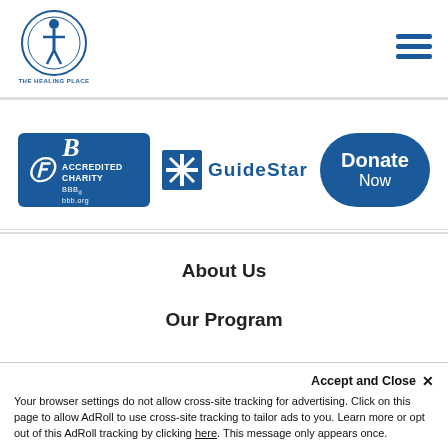[Figure (logo): The Healing Place circular logo with figure icon]
[Figure (logo): Hamburger menu icon (three horizontal lines)]
[Figure (logo): BBB Accredited Charity badge - blue rectangle with BBB logo, ACCREDITED CHARITY bbb.org text]
[Figure (logo): GuideStar logo with star icon and GUIDESTAR text]
[Figure (other): Donate Now blue rounded button]
About Us
Our Program
Stories of Success
Get Involved
Accept and Close ×
Your browser settings do not allow cross-site tracking for advertising. Click on this page to allow AdRoll to use cross-site tracking to tailor ads to you. Learn more or opt out of this AdRoll tracking by clicking here. This message only appears once.